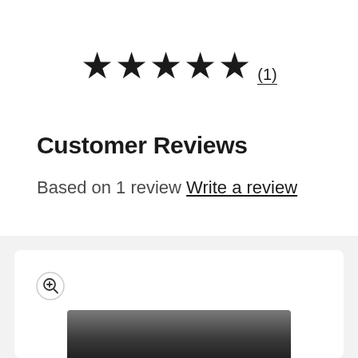[Figure (other): Five filled black stars rating followed by (1) in a circled underlined numeral]
Customer Reviews
Based on 1 review Write a review
[Figure (photo): Product image section with a white card, zoom-in icon button in upper left, and partial view of a dark product at the bottom]